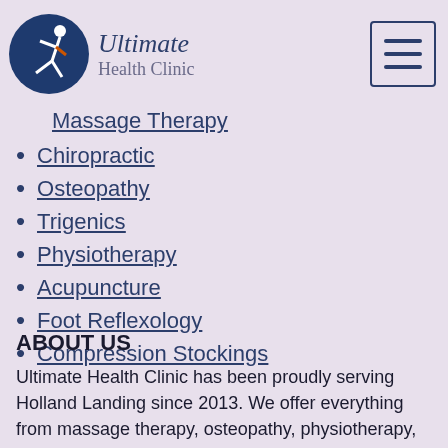[Figure (logo): Ultimate Health Clinic logo with circular dark blue icon showing a running figure, and text 'Ultimate Health Clinic' beside it. A hamburger menu icon in top right.]
Massage Therapy
Chiropractic
Osteopathy
Trigenics
Physiotherapy
Acupuncture
Foot Reflexology
Compression Stockings
ABOUT US
Ultimate Health Clinic has been proudly serving Holland Landing since 2013. We offer everything from massage therapy, osteopathy, physiotherapy, acupuncture, chiropractic, and reflexology. Call us today to learn more, or book